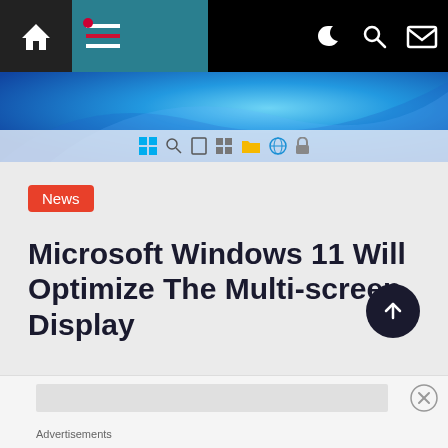[Figure (screenshot): Website navigation bar with home icon, hamburger menu on teal background, and dark right section with moon, search, and mail icons]
[Figure (screenshot): Windows 11 desktop wallpaper showing blue wave design, with taskbar icons visible at bottom]
News
Microsoft Windows 11 Will Optimize The Multi-screen Display
[Figure (other): Calendar icon]
[Figure (other): Scroll to top circular button with upward arrow]
Advertisements